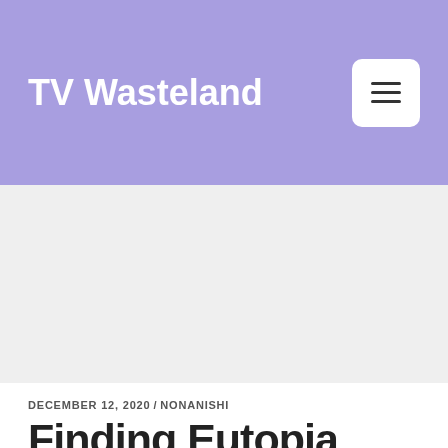TV Wasteland
[Figure (photo): Large image placeholder area with light gray background, likely an article featured image]
DECEMBER 12, 2020/ NONANISHI
Finding Eutopia